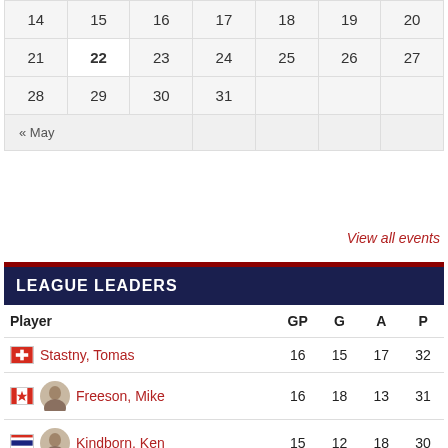|  |  |  |  |  |  |  |
| --- | --- | --- | --- | --- | --- | --- |
| 14 | 15 | 16 | 17 | 18 | 19 | 20 |
| 21 | 22 | 23 | 24 | 25 | 26 | 27 |
| 28 | 29 | 30 | 31 |  |  |  |
| « May |  |  |  |  |  |  |
View all events
LEAGUE LEADERS
| Player | GP | G | A | P |
| --- | --- | --- | --- | --- |
| Stastny, Tomas | 16 | 15 | 17 | 32 |
| Freeson, Mike | 16 | 18 | 13 | 31 |
| Kindborn, Ken | 15 | 12 | 18 | 30 |